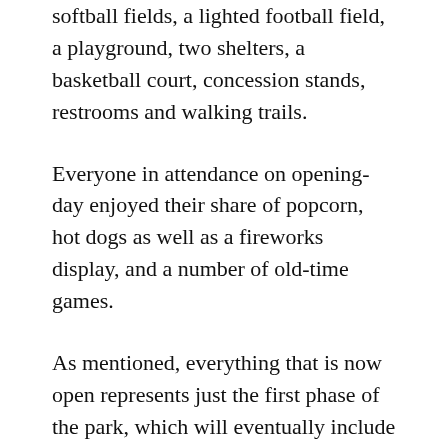softball fields, a lighted football field, a playground, two shelters, a basketball court, concession stands, restrooms and walking trails.
Everyone in attendance on opening-day enjoyed their share of popcorn, hot dogs as well as a fireworks display, and a number of old-time games.
As mentioned, everything that is now open represents just the first phase of the park, which will eventually include Waldens Creek and the possibility for additional walking or biking trails.
The Forever Parks Foundation, a nonprofit